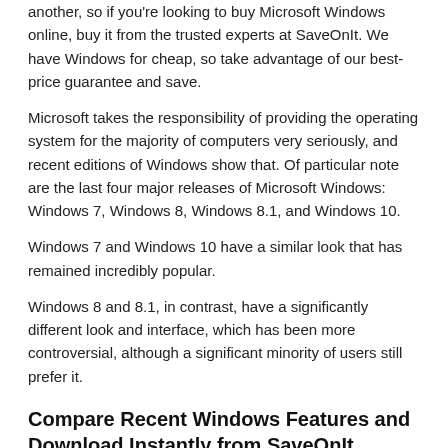another, so if you're looking to buy Microsoft Windows online, buy it from the trusted experts at SaveOnIt. We have Windows for cheap, so take advantage of our best-price guarantee and save.
Microsoft takes the responsibility of providing the operating system for the majority of computers very seriously, and recent editions of Windows show that. Of particular note are the last four major releases of Microsoft Windows: Windows 7, Windows 8, Windows 8.1, and Windows 10.
Windows 7 and Windows 10 have a similar look that has remained incredibly popular.
Windows 8 and 8.1, in contrast, have a significantly different look and interface, which has been more controversial, although a significant minority of users still prefer it.
Compare Recent Windows Features and Download Instantly from SaveOnIt
When deciding on the ideal Windows operating system for a computer, it is worth looking at the most significant features Microsoft has offered in its recent releases. Again, while many of these features are shared by Windows 7 and 10, 8 and 8.1